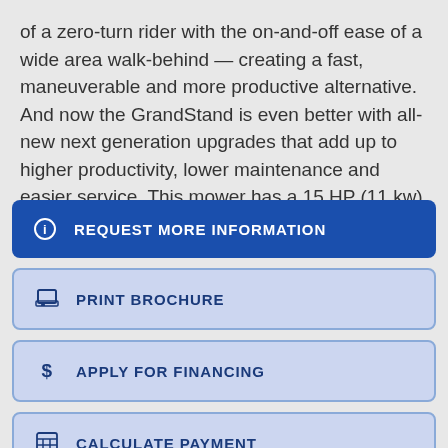of a zero-turn rider with the on-and-off ease of a wide area walk-behind — creating a fast, maneuverable and more productive alternative. And now the GrandStand is even better with all-new next generation upgrades that add up to higher productivity, lower maintenance and easier service. This mower has a 15 HP (11 kw) Kawasaki® FS541 with 40" (102 cm) TURBO FORCE® deck.
REQUEST MORE INFORMATION
PRINT BROCHURE
APPLY FOR FINANCING
CALCULATE PAYMENT
SCHEDULE A TEST RIDE